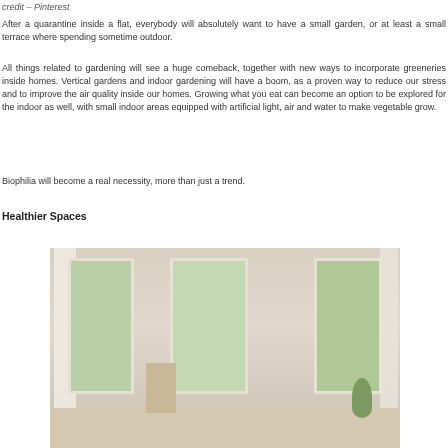credit – Pinterest
After a quarantine inside a flat, everybody will absolutely want to have a small garden, or at least a small terrace where spending sometime outdoor.
All things related to gardening will see a huge comeback, together with new ways to incorporate greeneries inside homes. Vertical gardens and indoor gardening will have a boom, as a proven way to reduce our stress and to improve the air quality inside our homes. Growing what you eat can become an option to be explored for the indoor as well, with small indoor areas equipped with artificial light, air and water to make vegetable grow.
Biophilia will become a real necessity, more than just a trend.
Healthier Spaces
[Figure (photo): Interior room with three tall windows letting in natural light, white curtains, a bookshelf, and a plant, with a warm neutral-toned interior.]